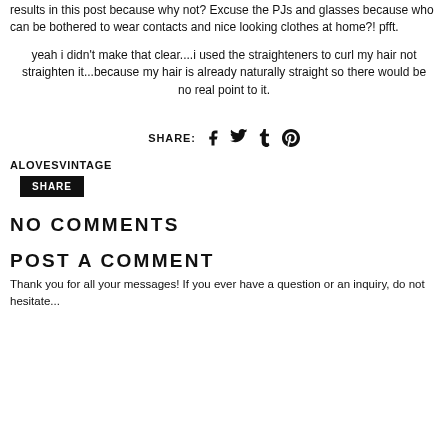results in this post because why not? Excuse the PJs and glasses because who can be bothered to wear contacts and nice looking clothes at home?! pfft.
yeah i didn't make that clear....i used the straighteners to curl my hair not straighten it...because my hair is already naturally straight so there would be no real point to it.
SHARE: [Facebook] [Twitter] [Tumblr] [Pinterest]
ALOVESVINTAGE
SHARE
NO COMMENTS
POST A COMMENT
Thank you for all your messages! If you ever have a question or an inquiry, do not hesitate...